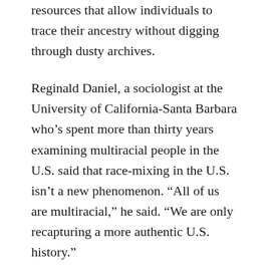resources that allow individuals to trace their ancestry without digging through dusty archives.
Reginald Daniel, a sociologist at the University of California-Santa Barbara who’s spent more than thirty years examining multiracial people in the U.S. said that race-mixing in the U.S. isn’t a new phenomenon. “All of us are multiracial,” he said. “We are only recapturing a more authentic U.S. history.”
Other researchers theorize that the various Melungeon lines may have sprung from the unions of black and white indentured servants living in Virginia in the mid-1600s, before slavery was well established and widespread. They conclude that as laws were put in place to penalize the mixing of races, the various family